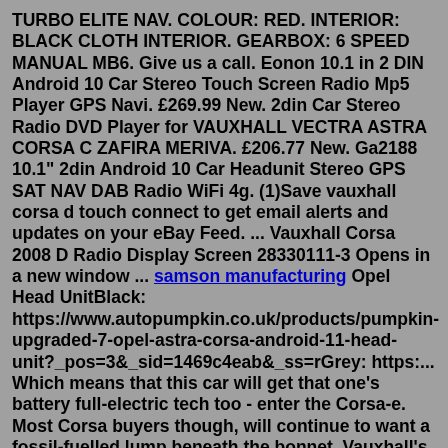TURBO ELITE NAV. COLOUR: RED. INTERIOR: BLACK CLOTH INTERIOR. GEARBOX: 6 SPEED MANUAL MB6. Give us a call. Eonon 10.1 in 2 DIN Android 10 Car Stereo Touch Screen Radio Mp5 Player GPS Navi. £269.99 New. 2din Car Stereo Radio DVD Player for VAUXHALL VECTRA ASTRA CORSA C ZAFIRA MERIVA. £206.77 New. Ga2188 10.1" 2din Android 10 Car Headunit Stereo GPS SAT NAV DAB Radio WiFi 4g. (1)Save vauxhall corsa d touch connect to get email alerts and updates on your eBay Feed. ... Vauxhall Corsa 2008 D Radio Display Screen 28330111-3 Opens in a new window ... samson manufacturing Opel Head UnitBlack: https://www.autopumpkin.co.uk/products/pumpkin-upgraded-7-opel-astra-corsa-android-11-head-unit?_pos=3&_sid=1469c4eab&_ss=rGrey: https:... Which means that this car will get that one's battery full-electric tech too - enter the Corsa-e. Most Corsa buyers though, will continue to want a fossil-fuelled lump beneath the bonnet. Vauxhall's also promising a